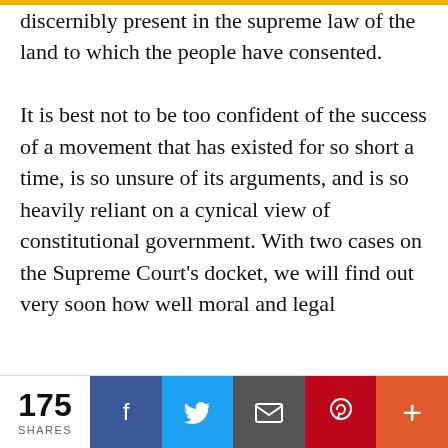discernibly present in the supreme law of the land to which the people have consented.
It is best not to be too confident of the success of a movement that has existed for so short a time, is so unsure of its arguments, and is so heavily reliant on a cynical view of constitutional government. With two cases on the Supreme Court's docket, we will find out very soon how well moral and legal
We use cookies on our website to give you the most relevant experience by remembering your preferences and repeat visits. By clicking “Accept All”, you consent to the use of ALL the cookies. However, you may visit "Cookie Settings" to provide a controlled consent.
175 SHARES